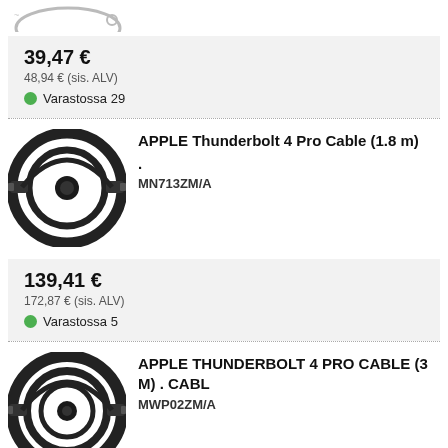[Figure (photo): Partial image of a cable product at top of page (cropped)]
39,47 €
48,94 € (sis. ALV)
Varastossa 29
APPLE Thunderbolt 4 Pro Cable (1.8 m) . MN713ZM/A
[Figure (photo): Black coiled Thunderbolt 4 Pro Cable (1.8 m) on white background]
139,41 €
172,87 € (sis. ALV)
Varastossa 5
APPLE THUNDERBOLT 4 PRO CABLE (3 M) . CABL MWP02ZM/A
[Figure (photo): Black coiled Thunderbolt 4 Pro Cable (3 m) on white background]